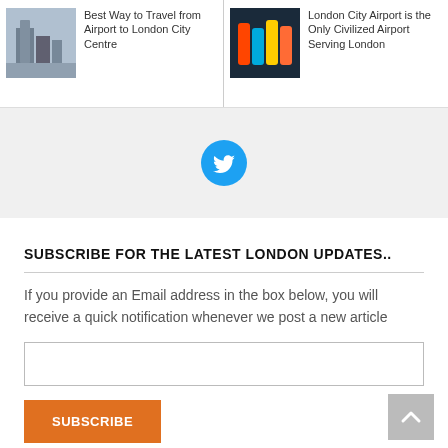[Figure (screenshot): Navigation card: thumbnail of London skyline with text 'Best Way to Travel from Airport to London City Centre']
[Figure (screenshot): Navigation card: thumbnail of colorful bottles with text 'London City Airport is the Only Civilized Airport Serving London']
[Figure (screenshot): Twitter bird icon in blue circle on grey background]
SUBSCRIBE FOR THE LATEST LONDON UPDATES..
If you provide an Email address in the box below, you will receive a quick notification whenever we post a new article
MOST VIEWED POSTS